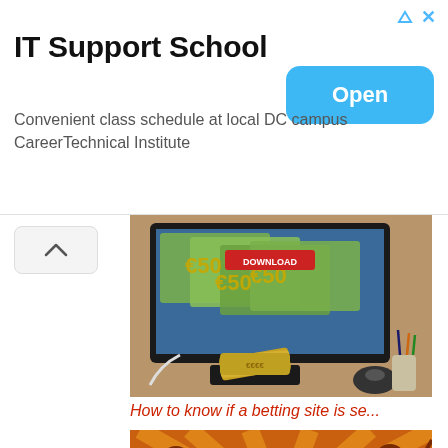[Figure (screenshot): Advertisement banner for IT Support School. White background with bold title text, subtitle, and blue Open button with arrow and X icons in top right.]
IT Support School
Convenient class schedule at local DC campus CareerTechnical Institute
[Figure (photo): Photo of a computer monitor displaying euro banknotes on screen with a DOWNLOAD button, wallet and fanned euro notes in front, mouse and pen holder on desk]
How to know if a betting site is se...
[Figure (screenshot): Pool/billiards game screenshot with orange sunburst background, silhouettes of players, pool table with colored balls, and a logo in the center]